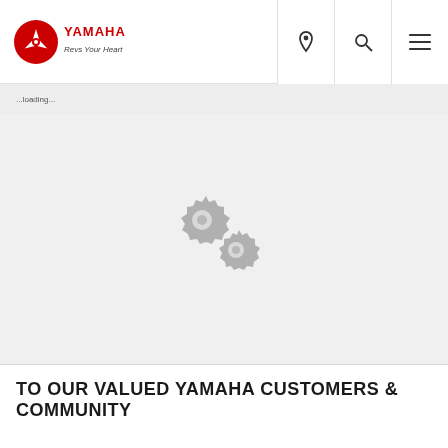YAMAHA — Revs Your Heart — Navigation header with location, search, and menu icons
[Figure (illustration): Two interlocking gray gear icons, loading/processing spinner graphic, centered in a light gray area]
TO OUR VALUED YAMAHA CUSTOMERS & COMMUNITY